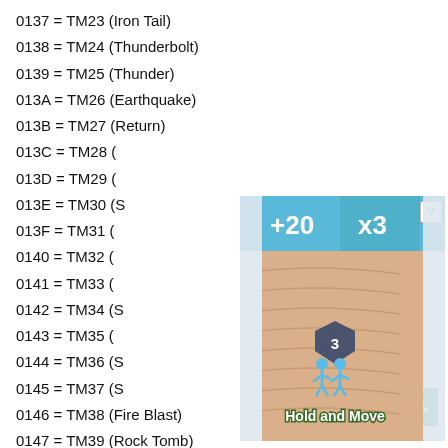0137 = TM23 (Iron Tail)
0138 = TM24 (Thunderbolt)
0139 = TM25 (Thunder)
013A = TM26 (Earthquake)
013B = TM27 (Return)
013C = TM28 (…)
013D = TM29 (…)
013E = TM30 (S…)
013F = TM31 (…)
0140 = TM32 (…)
0141 = TM33 (…)
0142 = TM34 (S…)
0143 = TM35 (…)
0144 = TM36 (S…)
0145 = TM37 (S…)
0146 = TM38 (Fire Blast)
0147 = TM39 (Rock Tomb)
0148 = TM40 (Aerial Ace)
0149 = TM41 (Torment)
014A = TM42 (Facade)
[Figure (screenshot): A mobile game ad overlay showing a bowling alley style game with '+20' and 'x3' score indicators, two blue stick figures with a '3' badge, and 'Hold and Move' instruction text. A red CLOSE button appears at the top of the popup.]